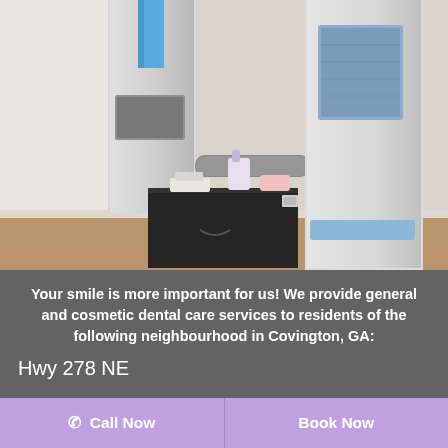[Figure (photo): Dental X-ray / CBCT machine equipment in a dental office room, with a dark cabinet/table nearby holding some items, walls are light gray/beige, flooring is visible at the bottom.]
Your smile is more important for us! We provide general and cosmetic dental care services to residents of the following neighbourhood in Covington, GA:
Hwy 278 NE
Call Now
Book Now